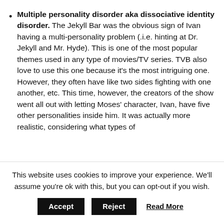Multiple personality disorder aka dissociative identity disorder. The Jekyll Bar was the obvious sign of Ivan having a multi-personality problem (.i.e. hinting at Dr. Jekyll and Mr. Hyde). This is one of the most popular themes used in any type of movies/TV series. TVB also love to use this one because it's the most intriguing one. However, they often have like two sides fighting with one another, etc. This time, however, the creators of the show went all out with letting Moses' character, Ivan, have five other personalities inside him. It was actually more realistic, considering what types of
This website uses cookies to improve your experience. We'll assume you're ok with this, but you can opt-out if you wish.